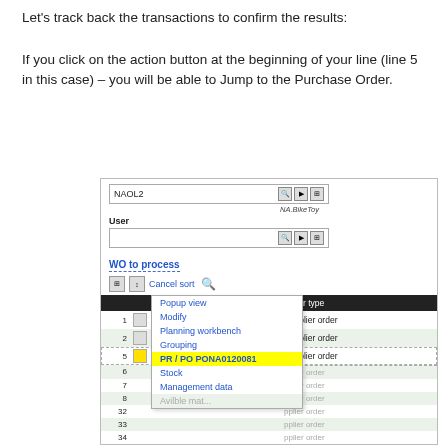Let's track back the transactions to confirm the results:
If you click on the action button at the beginning of your line (line 5 in this case) – you will be able to Jump to the Purchase Order.
[Figure (screenshot): Screenshot of a WO to process list in a purchasing/ERP application. Shows NAO12 header, User field, WO to process section with a table listing WIP status (Firm) and Order type (Supplier order) for rows 1, 2, 5, and rows 6-34 partially visible. A context popup menu is open at row 5 showing options: Popup view, Modify, Planning workbench, Grouping, PR / PO PONA0120081 (highlighted in yellow), Stock, Management data, and a partially visible option.]